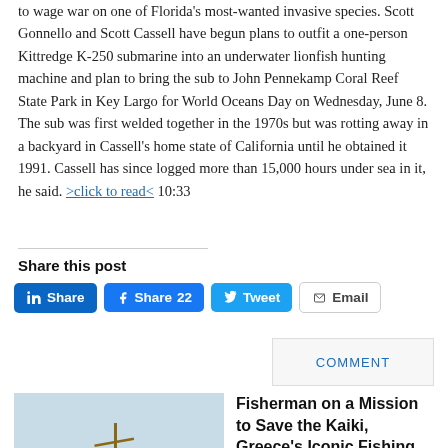to wage war on one of Florida's most-wanted invasive species. Scott Gonnello and Scott Cassell have begun plans to outfit a one-person Kittredge K-250 submarine into an underwater lionfish hunting machine and plan to bring the sub to John Pennekamp Coral Reef State Park in Key Largo for World Oceans Day on Wednesday, June 8. The sub was first welded together in the 1970s but was rotting away in a backyard in Cassell's home state of California until he obtained it 1991. Cassell has since logged more than 15,000 hours under sea in it, he said. >click to read< 10:33
Share this post
[Figure (other): Social sharing buttons: LinkedIn Share, Facebook Share 22, Twitter Tweet, Email]
COMMENT
[Figure (photo): Photo of a white and blue traditional Greek kaiki fishing boat on land with two people standing near it]
Fisherman on a Mission to Save the Kaiki, Greece's Iconic Fishing Boat
May 29, 2022 | International
In 2007, the European Union